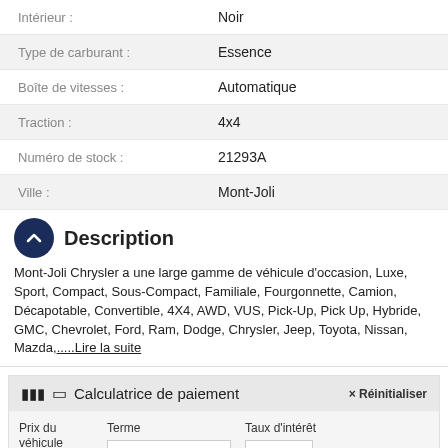| Label | Value |
| --- | --- |
| Intérieur : | Noir |
| Type de carburant : | Essence |
| Boîte de vitesses : | Automatique |
| Traction : | 4x4 |
| Numéro de stock : | 21293A |
| Ville : | Mont-Joli |
Description
Mont-Joli Chrysler a une large gamme de véhicule d'occasion, Luxe, Sport, Compact, Sous-Compact, Familiale, Fourgonnette, Camion, Décapotable, Convertible, 4X4, AWD, VUS, Pick-Up, Pick Up, Hybride, GMC, Chevrolet, Ford, Ram, Dodge, Chrysler, Jeep, Toyota, Nissan, Mazda,.....Lire la suite
| Calculatrice de paiement | × Réinitialiser |
| --- | --- |
| Prix du véhicule | Terme | Taux d'intérêt |
| 5 |  | % |
|  | pte | Échange |
Français (Canada)